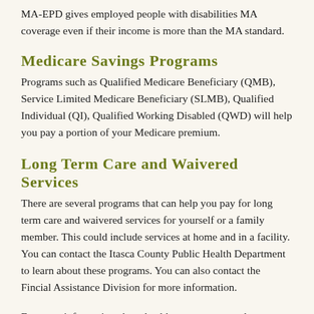MA-EPD gives employed people with disabilities MA coverage even if their income is more than the MA standard.
Medicare Savings Programs
Programs such as Qualified Medicare Beneficiary (QMB), Service Limited Medicare Beneficiary (SLMB), Qualified Individual (QI), Qualified Working Disabled (QWD) will help you pay a portion of your Medicare premium.
Long Term Care and Waivered Services
There are several programs that can help you pay for long term care and waivered services for yourself or a family member. This could include services at home and in a facility. You can contact the Itasca County Public Health Department to learn about these programs. You can also contact the Fincial Assistance Division for more information.
For more information about health care programs please